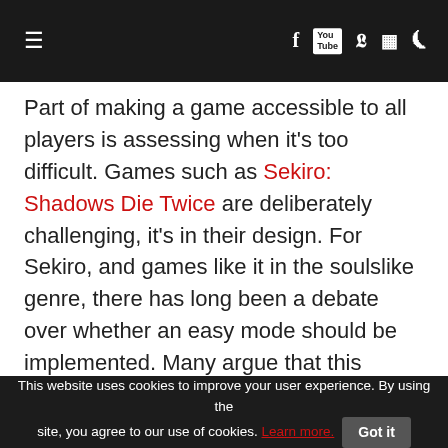≡  f  [yt]  𝕏  🎮  RSS
Part of making a game accessible to all players is assessing when it's too difficult. Games such as Sekiro: Shadows Die Twice are deliberately challenging, it's in their design. For Sekiro, and games like it in the soulslike genre, there has long been a debate over whether an easy mode should be implemented. Many argue that this would allow unskilled players to enjoy the story more, but that isn't really how the games work.
This website uses cookies to improve your user experience. By using the site, you agree to our use of cookies. Learn more.  Got it